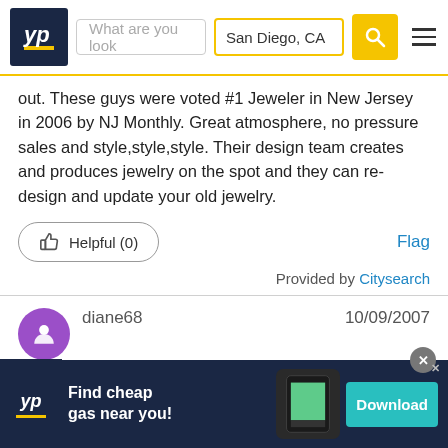[Figure (screenshot): YellowPages website header with logo, search bar showing 'What are you look', location field showing 'San Diego, CA', yellow search button, and hamburger menu]
out. These guys were voted #1 Jeweler in New Jersey in 2006 by NJ Monthly. Great atmosphere, no pressure sales and style,style,style. Their design team creates and produces jewelry on the spot and they can re-design and update your old jewelry.
Helpful (0)
Flag
Provided by Citysearch
diane68   10/09/2007
★★☆☆☆ Overall
low quality china made jewelry, high prices
don't waste your time and $$$ .............................
............... ...... .. .......... ............... .. ........... .. ..
[Figure (screenshot): YellowPages ad banner: Find cheap gas near you! with Download button]